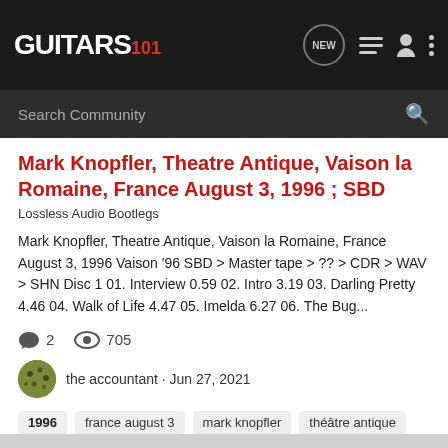GUITARS 101
Mark Knopfler, Theatre Antique, Vaison la Romaine, France August 3, 1996 ; SBD
Lossless Audio Bootlegs
Mark Knopfler, Theatre Antique, Vaison la Romaine, France August 3, 1996 Vaison '96 SBD > Master tape > ?? > CDR > WAV > SHN Disc 1 01. Interview 0.59 02. Intro 3.19 03. Darling Pretty 4.46 04. Walk of Life 4.47 05. Imelda 6.27 06. The Bug...
2   705
the accountant · Jun 27, 2021
1996
france august 3
mark knopfler
théâtre antique
vaison la romaine